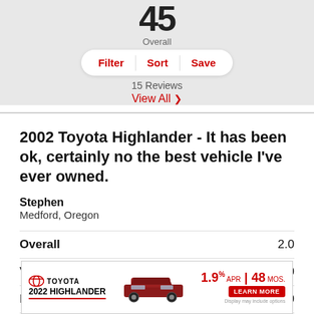15 Reviews
View All
2002 Toyota Highlander - It has been ok, certainly no the best vehicle I've ever owned.
Stephen
Medford, Oregon
| Category | Rating |
| --- | --- |
| Overall | 2.0 |
| Value | 2.0 |
| Performance | 3.0 |
[Figure (screenshot): Toyota 2022 Highlander advertisement banner with 1.9% APR for 48 months offer and Learn More button]